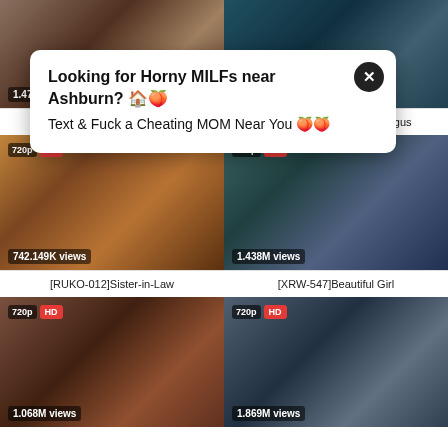[Figure (screenshot): Adult video website screenshot with popup ad and video thumbnails grid]
Looking for Horny MILFs near Ashburn? Text & Fuck a Cheating MOM Near You
[GNE-208]These Blowjobs
[JUY-567]Amazing Cunnilingus
[RUKO-012]Sister-in-Law
[XRW-547]Beautiful Girl
1.471M views
1.112M views
742.149K views
1.438M views
1.068M views
1.869M views